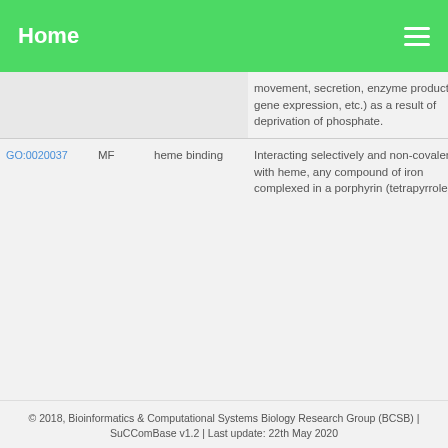Home
| GO ID | Type | Name | Description |
| --- | --- | --- | --- |
|  |  |  | movement, secretion, enzyme production, gene expression, etc.) as a result of deprivation of phosphate. |
| GO:0020037 | MF | heme binding | Interacting selectively and non-covalently with heme, any compound of iron complexed in a porphyrin (tetrapyrrole) ring. |
© 2018, Bioinformatics & Computational Systems Biology Research Group (BCSB) | SuCComBase v1.2 | Last update: 22th May 2020